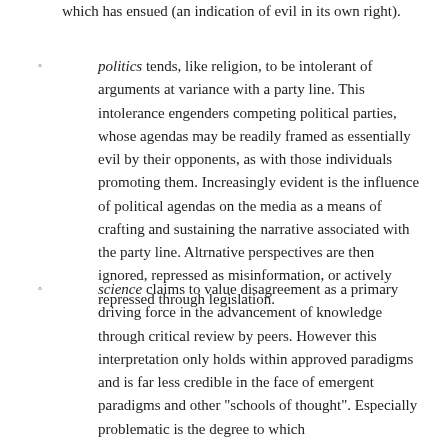which has ensued (an indication of evil in its own right).
politics tends, like religion, to be intolerant of arguments at variance with a party line. This intolerance engenders competing political parties, whose agendas may be readily framed as essentially evil by their opponents, as with those individuals promoting them. Increasingly evident is the influence of political agendas on the media as a means of crafting and sustaining the narrative associated with the party line. Altrnative perspectives are then ignored, repressed as misinformation, or actively repressed through legislation.
science claims to value disagreement as a primary driving force in the advancement of knowledge through critical review by peers. However this interpretation only holds within approved paradigms and is far less credible in the face of emergent paradigms and other "schools of thought". Especially problematic is the degree to which